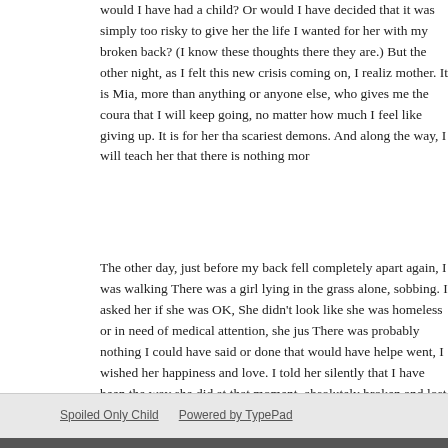would I have had a child? Or would I have decided that it was simply too risky to give her the life I wanted for her with my broken back? (I know these thoughts are there they are.) But the other night, as I felt this new crisis coming on, I realized mother. It is Mia, more than anything or anyone else, who gives me the courage that I will keep going, no matter how much I feel like giving up. It is for her that scariest demons. And along the way, I will teach her that there is nothing more
The other day, just before my back fell completely apart again, I was walking There was a girl lying in the grass alone, sobbing. I asked her if she was OK, She didn't look like she was homeless or in need of medical attention, she just There was probably nothing I could have said or done that would have helped went, I wished her happiness and love. I told her silently that I have been there way she did at that moment, absolutely broken and lost and not seeing any path felt so intensely how we all suffer and struggle in this life--but also how heroic way out of even the darkest places. How we get up and keep going and, some unknowable and bear the unbearable and find happiness and love along the
Posted at 09:44 AM | Permalink | Comments (0) | TrackBack (0)
Reblog (0)
Spoiled Only Child    Powered by TypePad